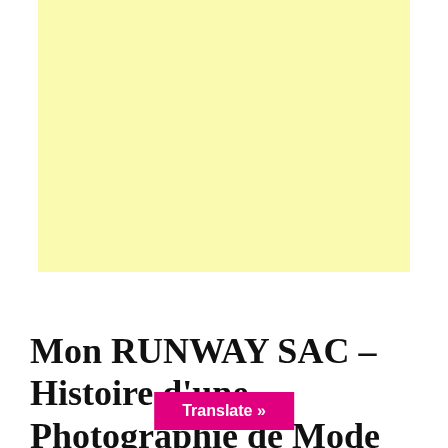[Figure (illustration): Light yellow/cream colored rectangular placeholder image area]
Mon RUNWAY SAC – Histoire d'une Photographie de Mode
Translate »